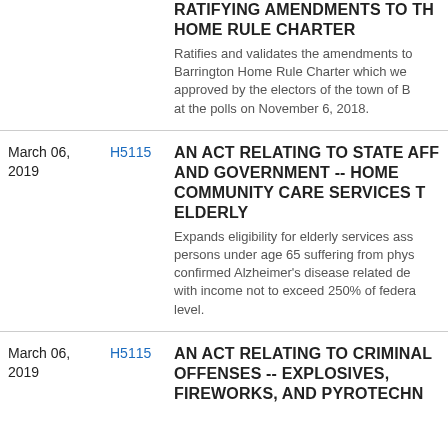RATIFYING AMENDMENTS TO THE HOME RULE CHARTER
Ratifies and validates the amendments to the Barrington Home Rule Charter which were approved by the electors of the town of B... at the polls on November 6, 2018.
March 06, 2019
H5115
AN ACT RELATING TO STATE AFFAIRS AND GOVERNMENT -- HOME COMMUNITY CARE SERVICES TO ELDERLY
Expands eligibility for elderly services assistance to persons under age 65 suffering from physically confirmed Alzheimer's disease related dementia with income not to exceed 250% of federal poverty level.
March 06, 2019
H5115
AN ACT RELATING TO CRIMINAL OFFENSES -- EXPLOSIVES, FIREWORKS, AND PYROTECHNICS